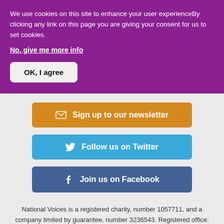We use cookies on this site to enhance your user experienceBy clicking any link on this page you are giving your consent for us to set cookies.
No, give me more info
OK, I agree
Sign up to our newsletter
Follow us on Twitter
Join us on Facebook
National Voices is a registered charity, number 1057711, and a company limited by guarantee, number 3236543. Registered office: The Foundry, 17 Oval Way, Vauxhall, London SE11 5RR